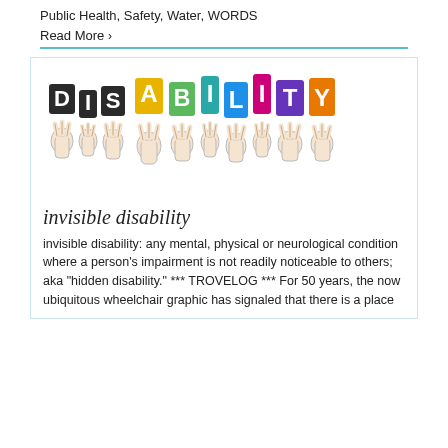Public Health, Safety, Water, WORDS
Read More >
[Figure (illustration): Colorful illustration of hands holding up letters spelling DISABILITY, with each letter in a different color (dark/black for DIS, yellow for A, green for B, teal for I, blue for L, magenta for I, purple for T, orange for Y).]
invisible disability
invisible disability: any mental, physical or neurological condition where a person's impairment is not readily noticeable to others; aka "hidden disability." *** TROVELOG *** For 50 years, the now ubiquitous wheelchair graphic has signaled that there is a place